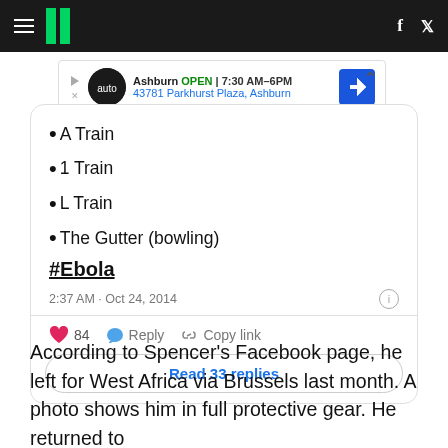HuffPost header navigation with hamburger menu, logo, Facebook and Twitter icons
[Figure (screenshot): Advertisement banner: Ashburn OPEN 7:30AM-6PM 43781 Parkhurst Plaza, Ashburn with auto service logo]
A Train
1 Train
L Train
The Gutter (bowling)
#Ebola
2:37 AM · Oct 24, 2014
84   Reply   Copy link
Read 33 replies
According to Spencer's Facebook page, he left for West Africa via Brussels last month. A photo shows him in full protective gear. He returned to